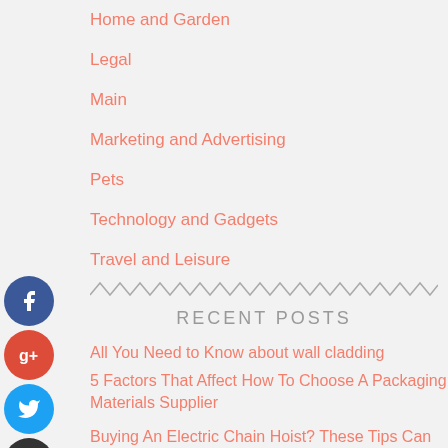Home and Garden
Legal
Main
Marketing and Advertising
Pets
Technology and Gadgets
Travel and Leisure
RECENT POSTS
All You Need to Know about wall cladding
5 Factors That Affect How To Choose A Packaging Materials Supplier
Buying An Electric Chain Hoist? These Tips Can